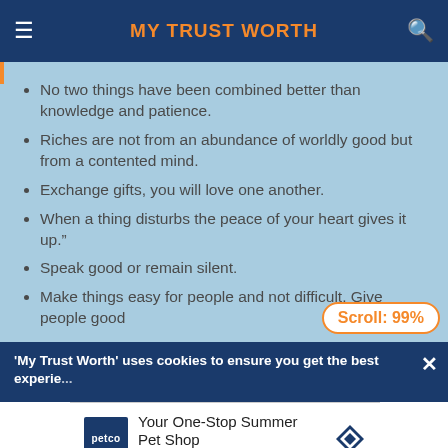MY TRUST WORTH
No two things have been combined better than knowledge and patience.
Riches are not from an abundance of worldly good but from a contented mind.
Exchange gifts, you will love one another.
When a thing disturbs the peace of your heart gives it up.”
Speak good or remain silent.
Make things easy for people and not difficult. Give people good
Scroll: 99%
'My Trust Worth' uses cookies to ensure you get the best experience
[Figure (screenshot): Petco advertisement banner: 'Your One-Stop Summer Pet Shop' with Petco logo and navigation arrow icon]